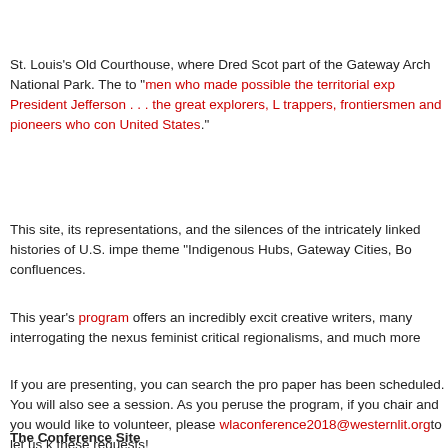St. Louis's Old Courthouse, where Dred Scott part of the Gateway Arch National Park. The to "men who made possible the territorial exp President Jefferson . . . the great explorers, L trappers, frontiersmen and pioneers who con United States."
This site, its representations, and the silences of the intricately linked histories of U.S. impe theme "Indigenous Hubs, Gateway Cities, Bo confluences.
This year's program offers an incredibly excit creative writers, many interrogating the nexus feminist critical regionalisms, and much more
If you are presenting, you can search the pro paper has been scheduled. You will also see a session. As you peruse the program, if you chair and you would like to volunteer, please wlaconference2018@westernlit.org to let us k these requests!
The Conference Site